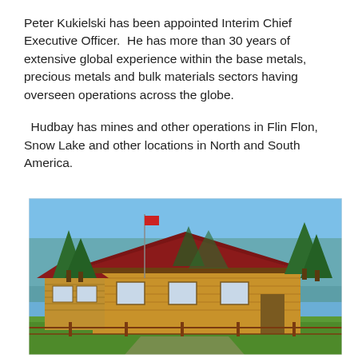Peter Kukielski has been appointed Interim Chief Executive Officer.  He has more than 30 years of extensive global experience within the base metals, precious metals and bulk materials sectors having overseen operations across the globe.
Hudbay has mines and other operations in Flin Flon, Snow Lake and other locations in North and South America.
[Figure (photo): Exterior photo of a log-cabin style building with a dark red/maroon roof, surrounded by green trees and lawn under a blue sky. A flagpole is visible on the left side.]